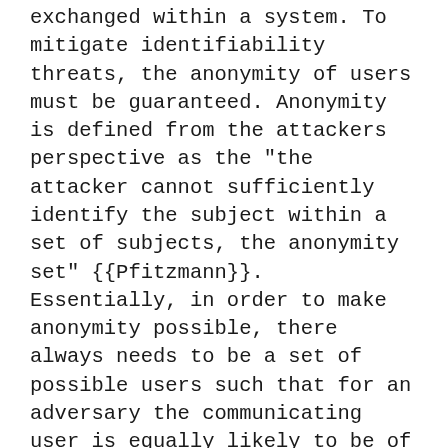exchanged within a system. To mitigate identifiability threats, the anonymity of users must be guaranteed. Anonymity is defined from the attackers perspective as the "the attacker cannot sufficiently identify the subject within a set of subjects, the anonymity set" {{Pfitzmann}}. Essentially, in order to make anonymity possible, there always needs to be a set of possible users such that for an adversary the communicating user is equally likely to be of any other user in the set {{Diaz}}. Thus, an adversary cannot identify who is the sender of a message. Anonymity can be achieved with the use of pseudonyms and cryptographic schemes such as anonymous remailers (i.e., mixnets), anonymous communications channels (e.g., Tor), and secret sharing.